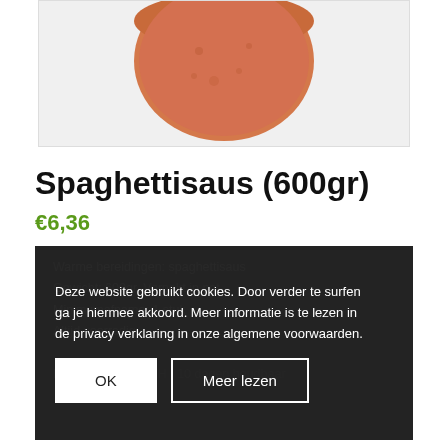[Figure (photo): Product photo of spaghetti sauce in a round container, orange-brown color, partial view showing top portion]
Spaghettisaus (600gr)
€6,36
Warme bereidingen: spaghettisaus
Gewicht: 600gr. Verpakt in pot.
Minimumafname: 1 stuk
Altijd voorradig
Koel te bewaren. TH : 10 dagen houdbaar
Deze website gebruikt cookies. Door verder te surfen ga je hiermee akkoord. Meer informatie is te lezen in de privacy verklaring in onze algemene voorwaarden.
Ingrediënten: gehakt (varken/rund, ei, paneermeel, specerijen), water, tomatenpuree,